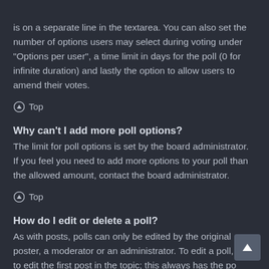is on a separate line in the textarea. You can also set the number of options users may select during voting under "Options per user", a time limit in days for the poll (0 for infinite duration) and lastly the option to allow users to amend their votes.
⬆ Top
Why can't I add more poll options?
The limit for poll options is set by the board administrator. If you feel you need to add more options to your poll than the allowed amount, contact the board administrator.
⬆ Top
How do I edit or delete a poll?
As with posts, polls can only be edited by the original poster, a moderator or an administrator. To edit a poll, click to edit the first post in the topic; this always has the poll associated with it. If no one has cast a vote, users can delete the poll or edit any poll option. However, if